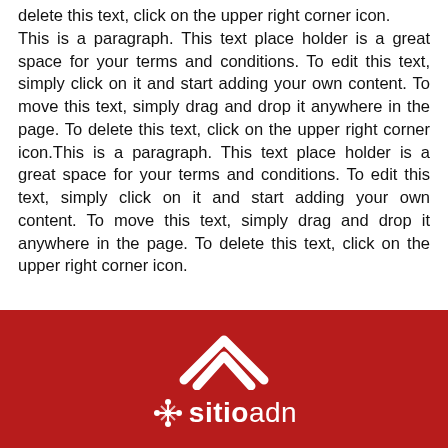delete this text, click on the upper right corner icon. This is a paragraph. This text place holder is a great space for your terms and conditions. To edit this text, simply click on it and start adding your own content. To move this text, simply drag and drop it anywhere in the page. To delete this text, click on the upper right corner icon.This is a paragraph. This text place holder is a great space for your terms and conditions. To edit this text, simply click on it and start adding your own content. To move this text, simply drag and drop it anywhere in the page. To delete this text, click on the upper right corner icon.
sitioadn